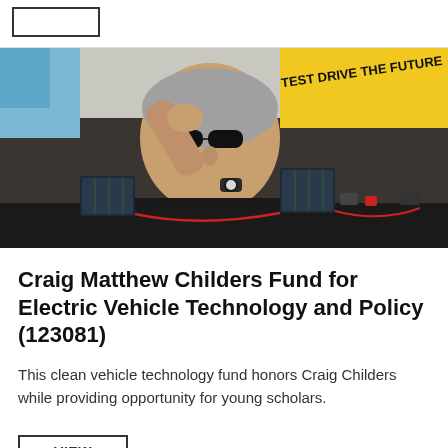[Figure (other): Button placeholder at top — a rectangular outlined 'VIEW' button in the upper left area, above a horizontal divider line]
[Figure (photo): A man in sunglasses and a black shirt leans over a table displaying small solar panels, wiring, and electronic components. In the background is a yellow sign reading 'TEST DRIVE THE FUTURE'.]
Craig Matthew Childers Fund for Electric Vehicle Technology and Policy (123081)
This clean vehicle technology fund honors Craig Childers while providing opportunity for young scholars.
[Figure (other): A rectangular outlined 'VIEW' button partially visible at the bottom of the page]